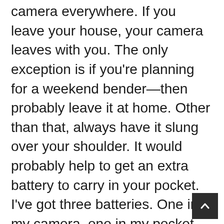camera everywhere. If you leave your house, your camera leaves with you. The only exception is if you're planning for a weekend bender—then probably leave it at home. Other than that, always have it slung over your shoulder. It would probably help to get an extra battery to carry in your pocket. I've got three batteries. One in my camera, one in my pocket, one in the charger. When it dies, swap them all.
For me, the most important part of improving at photography has been sharing it. Sign up for an Exposure...